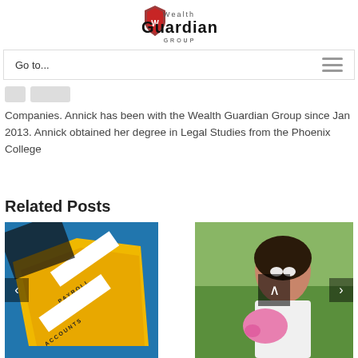[Figure (logo): Wealth Guardian Group logo with shield icon and stylized text]
Go to...
Companies. Annick has been with the Wealth Guardian Group since Jan 2013. Annick obtained her degree in Legal Studies from the Phoenix College
Related Posts
[Figure (photo): Left image showing payroll and accounts folders/files on a blue background]
[Figure (photo): Right image showing a young woman smiling outdoors holding a pink piggy bank]